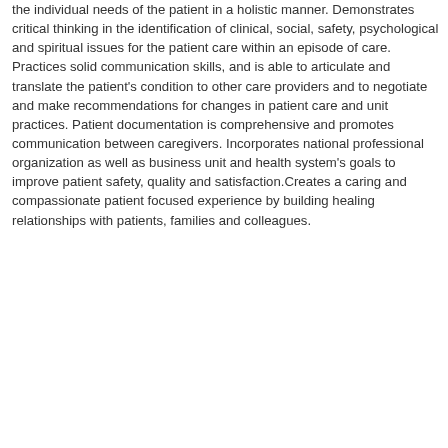the individual needs of the patient in a holistic manner. Demonstrates critical thinking in the identification of clinical, social, safety, psychological and spiritual issues for the patient care within an episode of care. Practices solid communication skills, and is able to articulate and translate the patient's condition to other care providers and to negotiate and make recommendations for changes in patient care and unit practices. Patient documentation is comprehensive and promotes communication between caregivers. Incorporates national professional organization as well as business unit and health system's goals to improve patient safety, quality and satisfaction.Creates a caring and compassionate patient focused experience by building healing relationships with patients, families and colleagues.